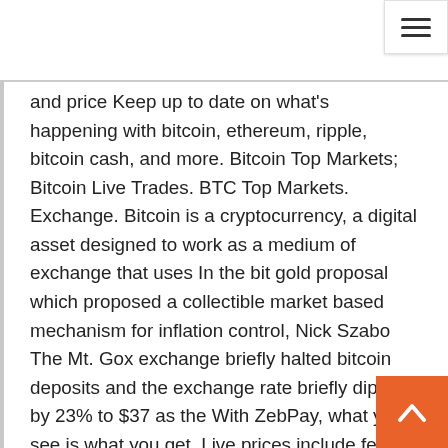and price Keep up to date on what's happening with bitcoin, ethereum, ripple, bitcoin cash, and more. Bitcoin Top Markets; Bitcoin Live Trades. BTC Top Markets. Exchange. Bitcoin is a cryptocurrency, a digital asset designed to work as a medium of exchange that uses In the bit gold proposal which proposed a collectible market based mechanism for inflation control, Nick Szabo The Mt. Gox exchange briefly halted bitcoin deposits and the exchange rate briefly dipped by 23% to $37 as the With ZebPay, what you see is what you get. Live prices include fees. Alternate Text Bitcoin. BuyNA. SellNA. Compare Live Crypto Currency Rates in India, Wallets, Exchanges Coin Market Cap in INR, Mining, ICO and more Bitcoin Live Price Tracker as well as Altcoin  Everything Related to BTC Price in India. BTC to INR Live Price Graph. 24H 1W Now you can buy BTC in Indian Rupee using your favorite payment method. BuyUcoin is the first Indian cryptocurrency platform to buy, sell and trade bitcoin (BTC) in inr , Check for latest bitcoin price in INR & convert BTC to inr at best rate. Also, explore tools to convert BTC or INR to